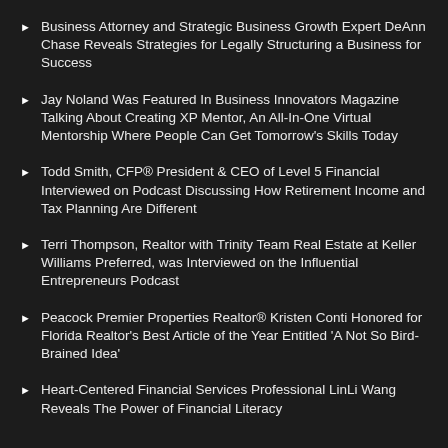Business Attorney and Strategic Business Growth Expert DeAnn Chase Reveals Strategies for Legally Structuring a Business for Success
Jay Noland Was Featured In Business Innovators Magazine Talking About Creating XP Mentor, An All-In-One Virtual Mentorship Where People Can Get Tomorrow's Skills Today
Todd Smith, CFP® President & CEO of Level 5 Financial Interviewed on Podcast Discussing How Retirement Income and Tax Planning Are Different
Terri Thompson, Realtor with Trinity Team Real Estate at Keller Williams Preferred, was Interviewed on the Influential Entrepreneurs Podcast
Peacock Premier Properties Realtor® Kristen Conti Honored for Florida Realtor's Best Article of the Year Entitled 'A Not So Bird-Brained Idea'
Heart-Centered Financial Services Professional LinLi Wang Reveals The Power of Financial Literacy